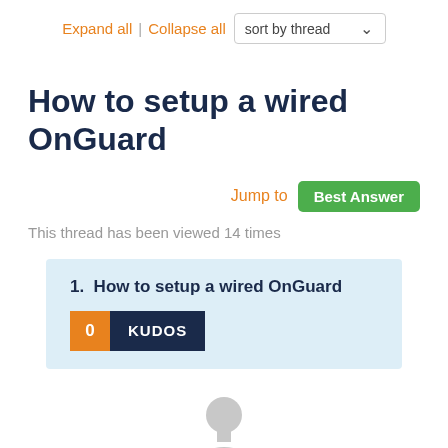Expand all | Collapse all  sort by thread
How to setup a wired OnGuard
Jump to  Best Answer
This thread has been viewed 14 times
1.  How to setup a wired OnGuard
0 KUDOS
[Figure (illustration): Silhouette avatar of a user profile placeholder]